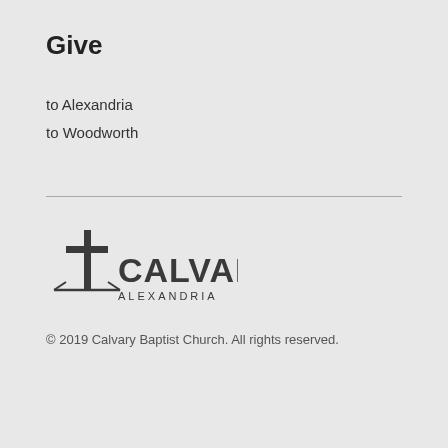Give
to Alexandria
to Woodworth
[Figure (logo): Calvary Alexandria church logo with cross icon and text 'CALVARY ALEXANDRIA']
© 2019 Calvary Baptist Church. All rights reserved.